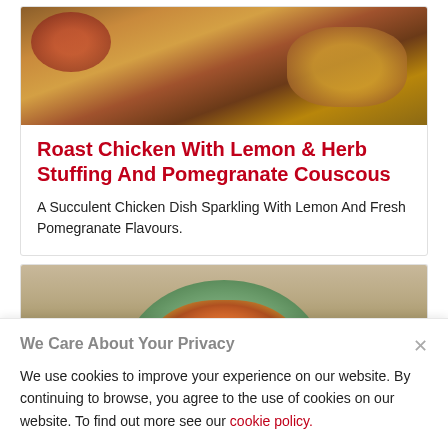[Figure (photo): A roast chicken dish with couscous, pomegranate seeds and herbs in a dark pan, viewed from above]
Roast Chicken With Lemon & Herb Stuffing And Pomegranate Couscous
A Succulent Chicken Dish Sparkling With Lemon And Fresh Pomegranate Flavours.
[Figure (photo): A green ceramic bowl filled with vegetable and bean soup, showing carrots, beans, and other vegetables in a broth, with a spoon beside it]
We Care About Your Privacy
We use cookies to improve your experience on our website. By continuing to browse, you agree to the use of cookies on our website. To find out more see our cookie policy.